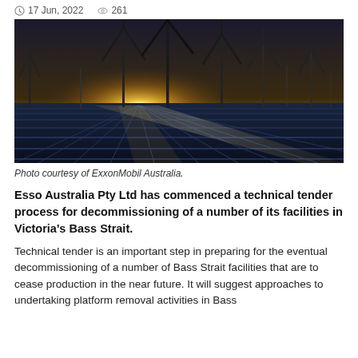17 Jun, 2022  261
[Figure (photo): Wind turbines and solar panels at sunset, with bright sunlight flaring from the horizon across a large solar panel array. Multiple wind turbines stand against a dramatic sky.]
Photo courtesy of ExxonMobil Australia.
Esso Australia Pty Ltd has commenced a technical tender process for decommissioning of a number of its facilities in Victoria's Bass Strait.
Technical tender is an important step in preparing for the eventual decommissioning of a number of Bass Strait facilities that are to cease production in the near future. It will suggest approaches to undertaking platform removal activities in Bass